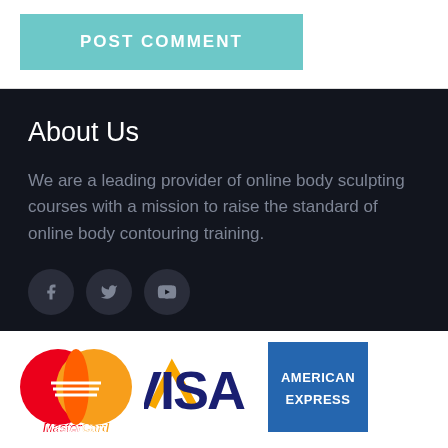POST COMMENT
About Us
We are a leading provider of online body sculpting courses with a mission to raise the standard of online body contouring training.
[Figure (other): Social media icons: Facebook, Twitter, YouTube]
[Figure (other): Payment logos: MasterCard, VISA, American Express]